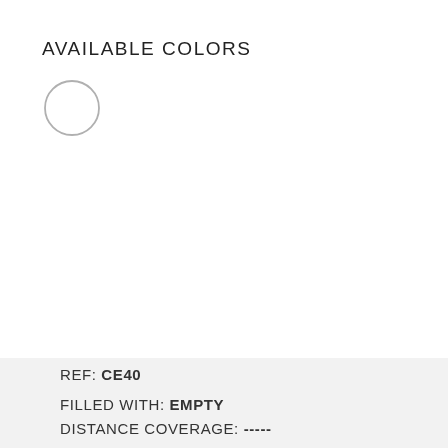AVAILABLE COLORS
[Figure (illustration): A single empty white circle with a light gray border, representing an available color swatch.]
REF: CE40
FILLED WITH: EMPTY
DISTANCE COVERAGE: -----